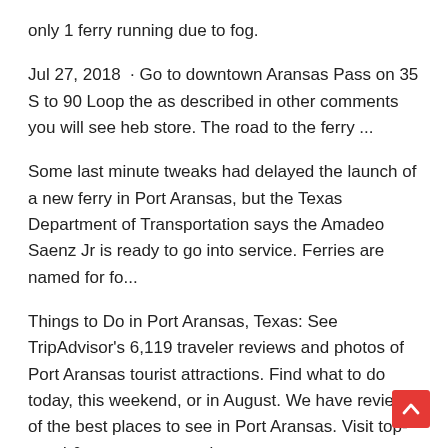only 1 ferry running due to fog.
Jul 27, 2018 · Go to downtown Aransas Pass on 35 S to 90 Loop the as described in other comments you will see heb store. The road to the ferry ...
Some last minute tweaks had delayed the launch of a new ferry in Port Aransas, but the Texas Department of Transportation says the Amadeo Saenz Jr is ready to go into service. Ferries are named for fo...
Things to Do in Port Aransas, Texas: See TripAdvisor's 6,119 traveler reviews and photos of Port Aransas tourist attractions. Find what to do today, this weekend, or in August. We have reviews of the best places to see in Port Aransas. Visit top-rated & must-see attractions.
More than 8 million passengers ride the Port Aransas and Galveston-Port Bolivar ferries annually. The two routes operate 24 hours a day, 365 days a year, ...